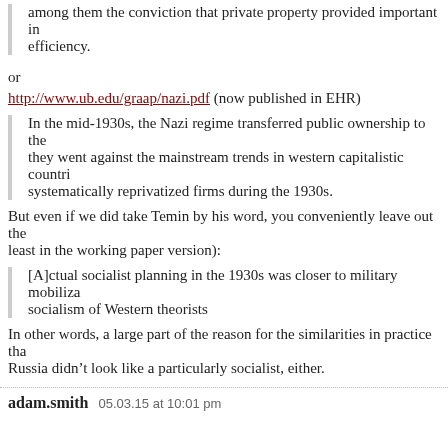among them the conviction that private property provided important incentives for efficiency.
or
http://www.ub.edu/graap/nazi.pdf (now published in EHR)
In the mid-1930s, the Nazi regime transferred public ownership to the they went against the mainstream trends in western capitalistic countries systematically reprivatized firms during the 1930s.
But even if we did take Temin by his word, you conveniently leave out the least in the working paper version):
[A]ctual socialist planning in the 1930s was closer to military mobilization socialism of Western theorists
In other words, a large part of the reason for the similarities in practice that Russia didn’t look like a particularly socialist, either.
adam.smith   05.03.15 at 10:01 pm